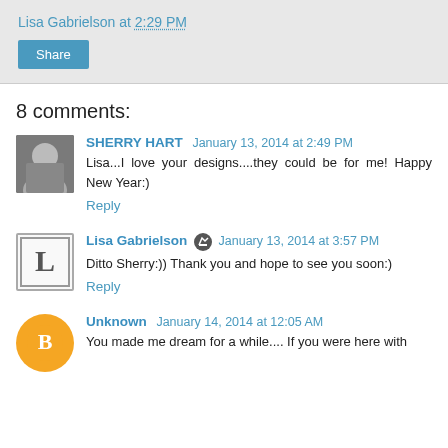Lisa Gabrielson at 2:29 PM
Share
8 comments:
SHERRY HART January 13, 2014 at 2:49 PM
Lisa...I love your designs....they could be for me! Happy New Year:)
Reply
Lisa Gabrielson January 13, 2014 at 3:57 PM
Ditto Sherry:)) Thank you and hope to see you soon:)
Reply
Unknown January 14, 2014 at 12:05 AM
You made me dream for a while.... If you were here with